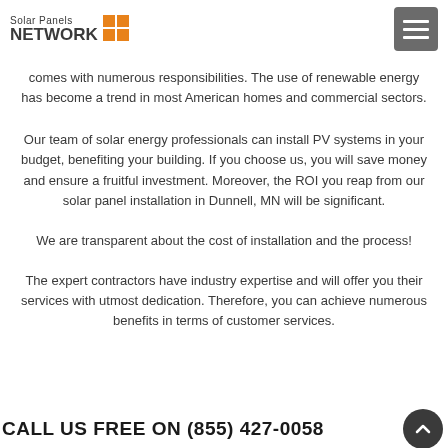Solar Panels NETWORK
comes with numerous responsibilities. The use of renewable energy has become a trend in most American homes and commercial sectors.
Our team of solar energy professionals can install PV systems in your budget, benefiting your building. If you choose us, you will save money and ensure a fruitful investment. Moreover, the ROI you reap from our solar panel installation in Dunnell, MN will be significant.
We are transparent about the cost of installation and the process!
The expert contractors have industry expertise and will offer you their services with utmost dedication. Therefore, you can achieve numerous benefits in terms of customer services.
CALL US FREE ON (855) 427-0058